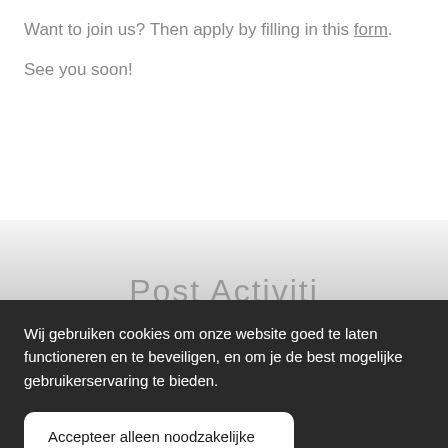Want to join us? Then apply by filling in this form.
See you soon!
[Figure (other): Partially visible text in light gray gradient section, showing partial letters of what appears to be 'Post Activiti...']
Wij gebruiken cookies om onze website goed te laten functioneren en te beveiligen, en om je de best mogelijke gebruikerservaring te bieden.
Accepteer alleen noodzakelijke
Alles accepteren